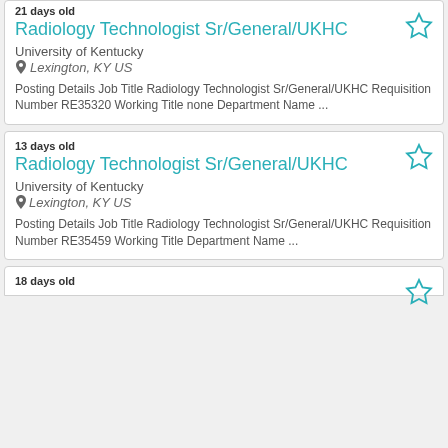21 days old
Radiology Technologist Sr/General/UKHC
University of Kentucky
Lexington, KY US
Posting Details Job Title Radiology Technologist Sr/General/UKHC Requisition Number RE35320 Working Title none Department Name ...
13 days old
Radiology Technologist Sr/General/UKHC
University of Kentucky
Lexington, KY US
Posting Details Job Title Radiology Technologist Sr/General/UKHC Requisition Number RE35459 Working Title Department Name ...
18 days old